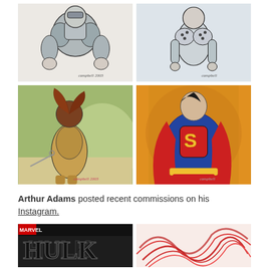[Figure (illustration): Watercolor/ink sketch of a muscular superhero figure (Captain America style) in gray tones, artist signature 'Campbell 2003']
[Figure (illustration): Ink sketch of a woman in a polka-dot bra top, gray tones, artist signature 'Campbell']
[Figure (illustration): Watercolor painting of a woman with auburn hair, chained, olive/green tones, artist signature 'Campbell 2003']
[Figure (illustration): Watercolor painting of Superman in classic red and blue costume with 'S' shield, orange/yellow background, artist signature]
Arthur Adams posted recent commissions on his Instagram.
[Figure (illustration): Marvel comic book cover featuring Hulk, dark tones]
[Figure (illustration): Abstract red flame-like lines on light background]